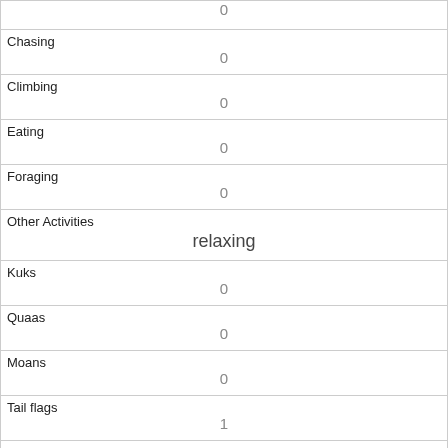|  | 0 |
| Chasing | 0 |
| Climbing | 0 |
| Eating | 0 |
| Foraging | 0 |
| Other Activities | relaxing |
| Kuks | 0 |
| Quaas | 0 |
| Moans | 0 |
| Tail flags | 1 |
| Tail twitches | 0 |